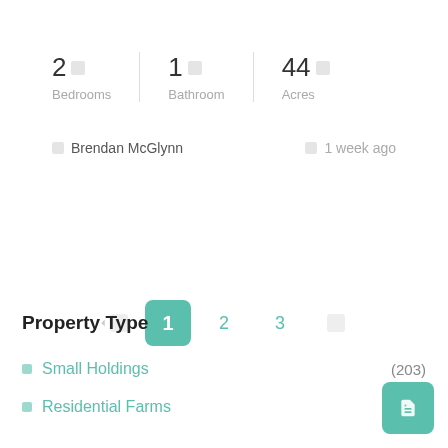2 🛏 Bedrooms | 1 🛁 Bathroom | 44 🌿 Acres
👤 Brendan McGlynn   🕐 1 week ago
◀ 1 2 3 ▶
Property Type
Small Holdings (203)
Residential Farms (169)